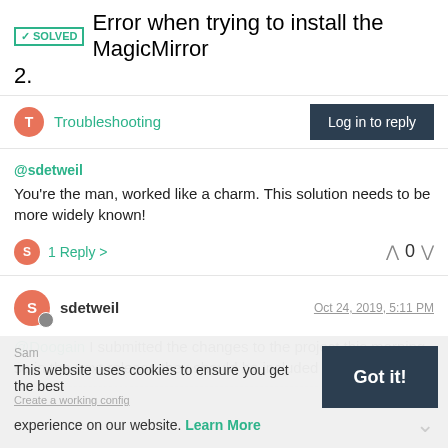✓SOLVED Error when trying to install the MagicMirror 2.
Troubleshooting
@sdetweil
You're the man, worked like a charm. This solution needs to be more widely known!
1 Reply >    ^ 0 v
sdetweil    Oct 24, 2019, 5:11 PM
@Doogain I submitted the changes to the project this morning so in the next release they should be included
This website uses cookies to ensure you get the best experience on our website. Learn More